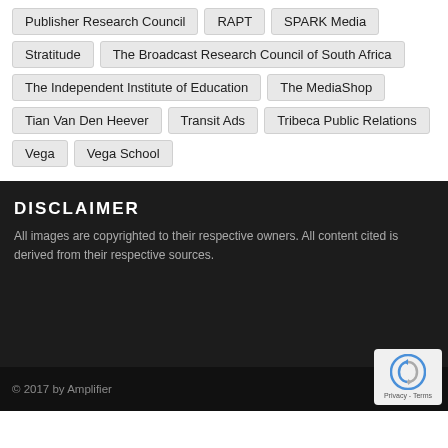Publisher Research Council
RAPT
SPARK Media
Stratitude
The Broadcast Research Council of South Africa
The Independent Institute of Education
The MediaShop
Tian Van Den Heever
Transit Ads
Tribeca Public Relations
Vega
Vega School
DISCLAIMER
All images are copyrighted to their respective owners. All content cited is derived from their respective sources.
© 2017 by Amplifier